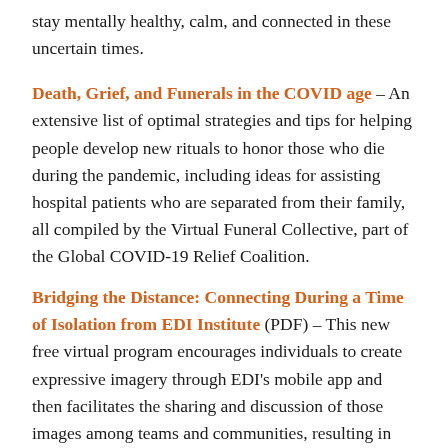stay mentally healthy, calm, and connected in these uncertain times.
Death, Grief, and Funerals in the COVID age – An extensive list of optimal strategies and tips for helping people develop new rituals to honor those who die during the pandemic, including ideas for assisting hospital patients who are separated from their family, all compiled by the Virtual Funeral Collective, part of the Global COVID-19 Relief Coalition.
Bridging the Distance: Connecting During a Time of Isolation from EDI Institute (PDF) – This new free virtual program encourages individuals to create expressive imagery through EDI's mobile app and then facilitates the sharing and discussion of those images among teams and communities, resulting in powerful interpersonal connection for participants.